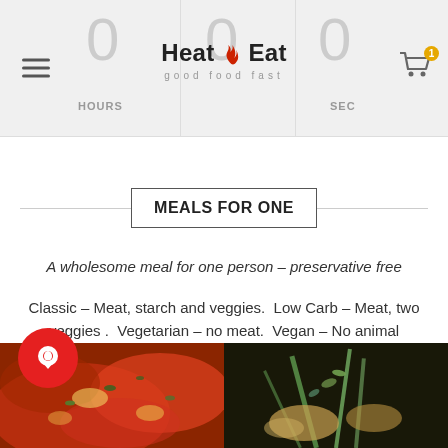Heat n Eat — good food fast — navigation header with timer 0 HOURS 0 0 SEC and cart
MEALS FOR ONE
A wholesome meal for one person – preservative free
Classic – Meat, starch and veggies.  Low Carb – Meat, two veggies .  Vegetarian – no meat.  Vegan – No animal products
[Figure (photo): Food photo left: pizza or pasta with red sauce and green herbs]
[Figure (photo): Food photo right: dark background with green vegetable stalks and light-colored protein]